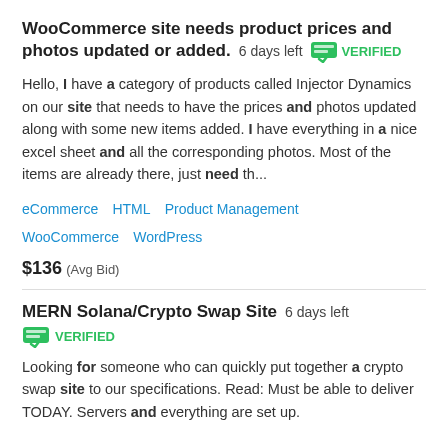WooCommerce site needs product prices and photos updated or added.  6 days left  VERIFIED
Hello, I have a category of products called Injector Dynamics on our site that needs to have the prices and photos updated along with some new items added. I have everything in a nice excel sheet and all the corresponding photos. Most of the items are already there, just need th...
eCommerce   HTML   Product Management   WooCommerce   WordPress
$136  (Avg Bid)
MERN Solana/Crypto Swap Site  6 days left  VERIFIED
Looking for someone who can quickly put together a crypto swap site to our specifications. Read: Must be able to deliver TODAY. Servers and everything are set up.